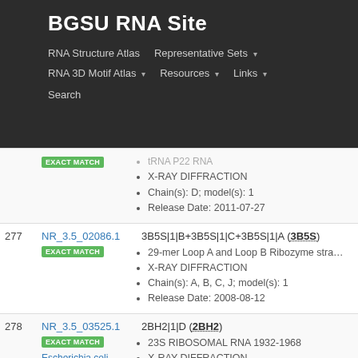BGSU RNA Site
RNA Structure Atlas | Representative Sets ▾ | RNA 3D Motif Atlas ▾ | Resources ▾ | Links ▾ | Search
| # | ID | Info |
| --- | --- | --- |
|  | NR_3.5_02086.1 EXACT MATCH | 3B5S|1|B+3B5S|1|C+3B5S|1|A (3B5S) • 29-mer Loop A and Loop B Ribozyme stra... • X-RAY DIFFRACTION • Chain(s): A, B, C, J; model(s): 1 • Release Date: 2008-08-12 |
| 277 | NR_3.5_02086.1 EXACT MATCH | 3B5S|1|B+3B5S|1|C+3B5S|1|A (3B5S) • 29-mer Loop A and Loop B Ribozyme stra... • X-RAY DIFFRACTION • Chain(s): A, B, C, J; model(s): 1 • Release Date: 2008-08-12 |
| 278 | NR_3.5_03525.1 EXACT MATCH Escherichia coli | 2BH2|1|D (2BH2) • 23S RIBOSOMAL RNA 1932-1968 • X-RAY DIFFRACTION • Chain(s): D; model(s): 1 • Release Date: 2005-02-20 |